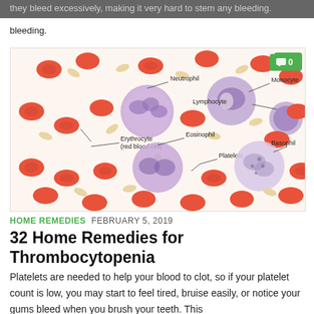they bleed excessively, making it very hard to stem any bleeding.
[Figure (illustration): Medical illustration of blood cells showing Neutrophil, Monocyte, Lymphocyte, Erythrocyte (red blood cell), Eosinophil, Platelets, and Basophil labeled with leader lines, on a background of red blood cells and platelets.]
HOME REMEDIES  FEBRUARY 5, 2019
32 Home Remedies for Thrombocytopenia
Platelets are needed to help your blood to clot, so if your platelet count is low, you may start to feel tired, bruise easily, or notice your gums bleed when you brush your teeth. This